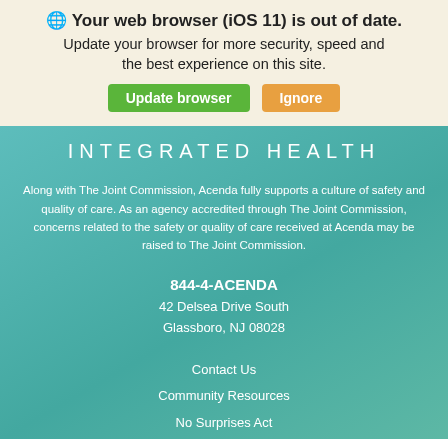🌐 Your web browser (iOS 11) is out of date.
Update your browser for more security, speed and the best experience on this site.
Update browser   Ignore
INTEGRATED HEALTH
Along with The Joint Commission, Acenda fully supports a culture of safety and quality of care. As an agency accredited through The Joint Commission, concerns related to the safety or quality of care received at Acenda may be raised to The Joint Commission.
844-4-ACENDA
42 Delsea Drive South
Glassboro, NJ 08028
Contact Us
Community Resources
No Surprises Act